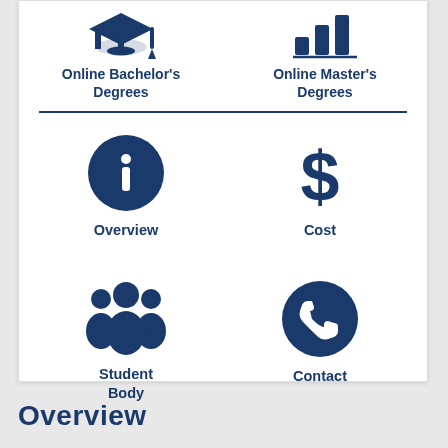[Figure (infographic): Two icons side by side: Online Bachelor's Degrees (book/graduation icon) and Online Master's Degrees (bar chart icon) with a horizontal divider below them, followed by four navigation icons in a 2x2 grid: Overview (info circle), Cost (dollar sign), Student Body (group of people), Contact (phone in circle).]
Online Bachelor's Degrees
Online Master's Degrees
Overview
Cost
Student Body
Contact
Overview